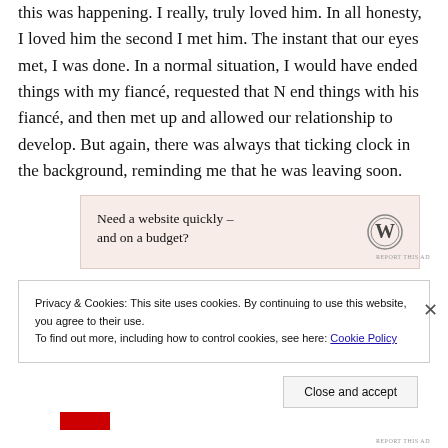this was happening. I really, truly loved him. In all honesty, I loved him the second I met him. The instant that our eyes met, I was done. In a normal situation, I would have ended things with my fiancé, requested that N end things with his fiancé, and then met up and allowed our relationship to develop. But again, there was always that ticking clock in the background, reminding me that he was leaving soon.
[Figure (other): WordPress advertisement banner with text 'Need a website quickly – and on a budget?' and WordPress logo]
Privacy & Cookies: This site uses cookies. By continuing to use this website, you agree to their use.
To find out more, including how to control cookies, see here: Cookie Policy
Close and accept